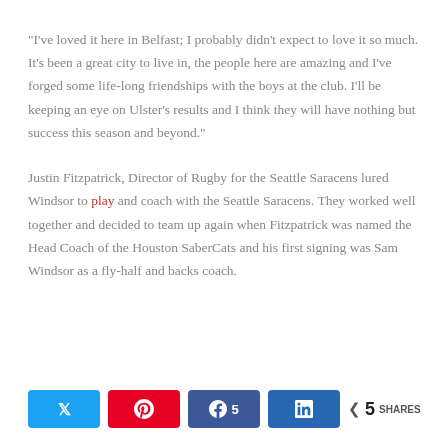“I’ve loved it here in Belfast; I probably didn’t expect to love it so much. It’s been a great city to live in, the people here are amazing and I’ve forged some life-long friendships with the boys at the club. I’ll be keeping an eye on Ulster’s results and I think they will have nothing but success this season and beyond.”
Justin Fitzpatrick, Director of Rugby for the Seattle Saracens lured Windsor to play and coach with the Seattle Saracens. They worked well together and decided to team up again when Fitzpatrick was named the Head Coach of the Houston SaberCats and his first signing was Sam Windsor as a fly-half and backs coach.
[Figure (infographic): Social share bar with Twitter, Pinterest, Facebook (5 shares), LinkedIn buttons, and a total share count of 5 SHARES]